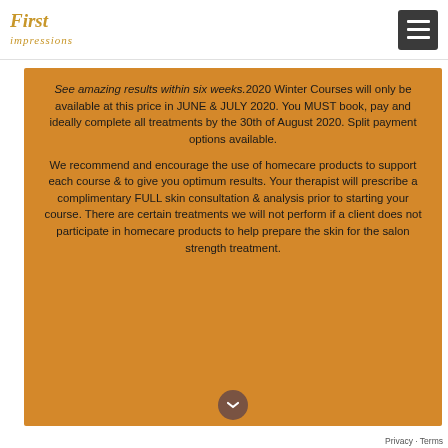First Impressions
See amazing results within six weeks.2020 Winter Courses will only be available at this price in JUNE & JULY 2020. You MUST book, pay and ideally complete all treatments by the 30th of August 2020. Split payment options available.
We recommend and encourage the use of homecare products to support each course & to give you optimum results. Your therapist will prescribe a complimentary FULL skin consultation & analysis prior to starting your course. There are certain treatments we will not perform if a client does not participate in homecare products to help prepare the skin for the salon strength treatment.